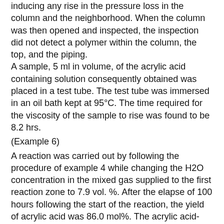inducing any rise in the pressure loss in the column and the neighborhood. When the column was then opened and inspected, the inspection did not detect a polymer within the column, the top, and the piping. A sample, 5 ml in volume, of the acrylic acid containing solution consequently obtained was placed in a test tube. The test tube was immersed in an oil bath kept at 95°C. The time required for the viscosity of the sample to rise was found to be 8.2 hrs.
(Example 6)
A reaction was carried out by following the procedure of example 4 while changing the H2O concentration in the mixed gas supplied to the first reaction zone to 7.9 vol. %. After the elapse of 100 hours following the start of the reaction, the yield of acrylic acid was 86.0 mol%. The acrylic acid-containing gas obtained at this point was introduced at a temperature of 171°C into an acrylic acid absorption column having 14 steps as a theoretical number of steps to absorb the acrylic acid therein with an absorbent water containing 1.3 wt. % of acrylic acid, 4.4 wt. % of acetic acid, and such an amount of hydroquinone as equaled 200 wt. ppm based on the amount of the acrylic acid in the acrylic acid-